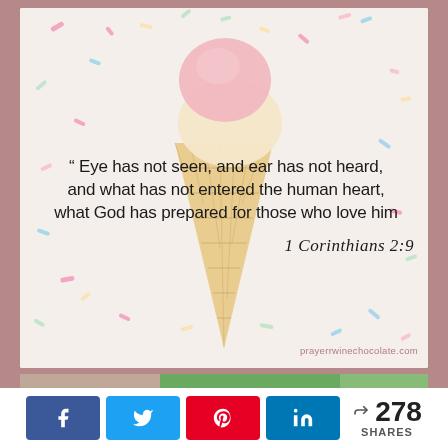[Figure (illustration): Ice cream cone with pink and vanilla scoops on a white background with colorful sprinkles, overlaid with a Bible verse quote and the watermark prayerrwinechocolate.com]
" Eye has not seen, and ear has not heard, and what has not entered the human heart, what God has prepared for those who love him
1 Corinthians 2:9
[Figure (photo): Partial photo strip at bottom of card showing outdoor scene]
278 SHARES